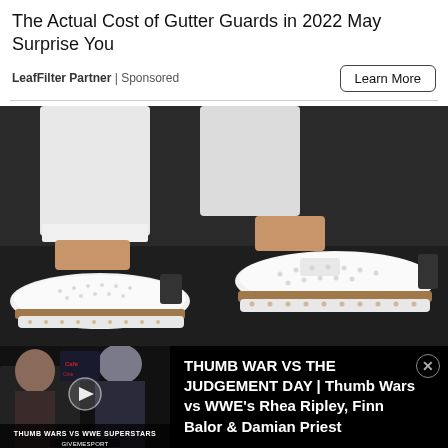The Actual Cost of Gutter Guards in 2022 May Surprise You
LeafFilter Partner | Sponsored
[Figure (photo): Close-up photo of a person's feet wearing white perforated sneakers with tan/brown soles, standing on a dark textured surface. The person is wearing white rolled-up jeans.]
[Figure (screenshot): Video thumbnail showing WWE stars at an event with the text 'THUMB WARS VS WWE SUPERSTARS' and 'GIVEMESPORT' branding, with a play button overlay.]
THUMB WAR VS THE JUDGEMENT DAY | Thumb Wars vs WWE's Rhea Ripley, Finn Balor & Damian Priest